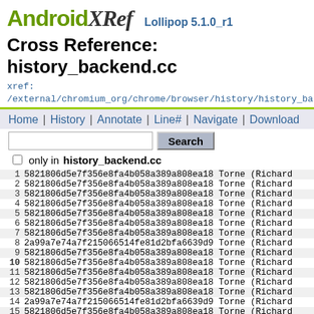AndroidXRef Lollipop 5.1.0_r1
Cross Reference: history_backend.cc
xref: /external/chromium_org/chrome/browser/history/history_backend.cc
Home | History | Annotate | Line# | Navigate | Download
only in history_backend.cc
| line | hash | author |
| --- | --- | --- |
| 1 | 5821806d5e7f356e8fa4b058a389a808ea18 | Torne (Richard |
| 2 | 5821806d5e7f356e8fa4b058a389a808ea18 | Torne (Richard |
| 3 | 5821806d5e7f356e8fa4b058a389a808ea18 | Torne (Richard |
| 4 | 5821806d5e7f356e8fa4b058a389a808ea18 | Torne (Richard |
| 5 | 5821806d5e7f356e8fa4b058a389a808ea18 | Torne (Richard |
| 6 | 5821806d5e7f356e8fa4b058a389a808ea18 | Torne (Richard |
| 7 | 5821806d5e7f356e8fa4b058a389a808ea18 | Torne (Richard |
| 8 | 2a99a7e74a7f215066514fe81d2bfa6639d9 | Torne (Richard |
| 9 | 5821806d5e7f356e8fa4b058a389a808ea18 | Torne (Richard |
| 10 | 5821806d5e7f356e8fa4b058a389a808ea18 | Torne (Richard |
| 11 | 5821806d5e7f356e8fa4b058a389a808ea18 | Torne (Richard |
| 12 | 5821806d5e7f356e8fa4b058a389a808ea18 | Torne (Richard |
| 13 | 5821806d5e7f356e8fa4b058a389a808ea18 | Torne (Richard |
| 14 | 2a99a7e74a7f215066514fe81d2bfa6639d9 | Torne (Richard |
| 15 | 5821806d5e7f356e8fa4b058a389a808ea18 | Torne (Richard |